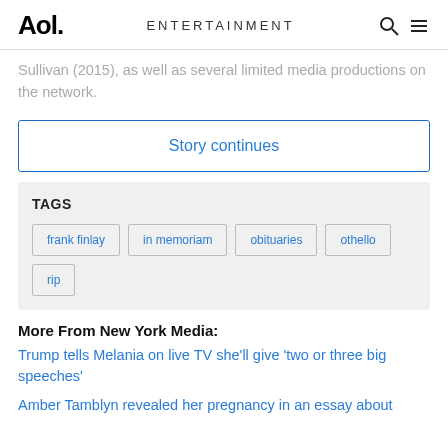Aol. ENTERTAINMENT
...Sullivan (2015), as well as several limited media productions on the network.
Story continues
TAGS
frank finlay
in memoriam
obituaries
othello
rip
More From New York Media:
Trump tells Melania on live TV she'll give 'two or three big speeches'
Amber Tamblyn revealed her pregnancy in an essay about